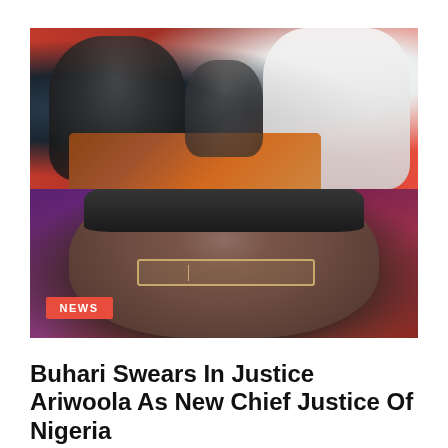[Figure (photo): Composite photo: top half shows two men shaking hands across a wooden desk/podium with a third person in background wearing a mask, set against red curtains; bottom half shows a close-up of a man wearing a flat cap/beret and gold-rimmed glasses looking at the camera with a serious expression. A red NEWS badge overlays the bottom-left of the image.]
Buhari Swears In Justice Ariwoola As New Chief Justice Of Nigeria